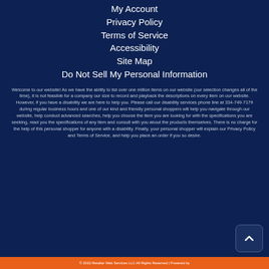My Account
Privacy Policy
Terms of Service
Accessibility
Site Map
Do Not Sell My Personal Information
Welcome to our website! As we have the ability to list over one million items on our website (our selection changes all of the time), it is not feasible for a company our size to record and playback the descriptions on every item on our website. However, if you have a disability we are here to help you. Please call our disability services phone line at 334-749-7179 during regular business hours and one of our kind and friendly personal shoppers will help you navigate through our website, help conduct advanced searches, help you choose the item you are looking for with the specifications you are seeking, read you the specifications of any item and consult with you about the products themselves. There is no charge for the help of this personal shopper for anyone with a disability. Finally, your personal shopper will explain our Privacy Policy and Terms of Service, and help you place an order if you so desire.
© 2022 Retailer Web Services LLC All Rights Reserved | Powered by